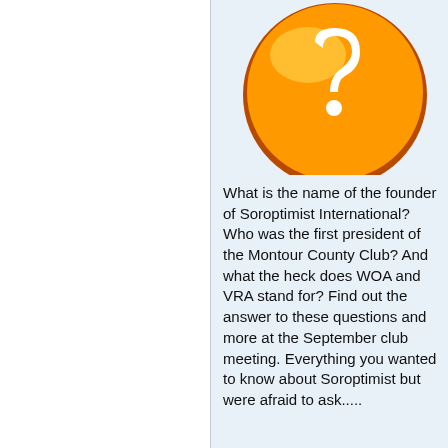[Figure (illustration): Orange circle icon with a white question mark symbol]
What is the name of the founder of Soroptimist International?  Who was the first president of the Montour County Club? And what the heck does WOA and VRA stand for?  Find out the answer to these questions and more at the September club meeting. Everything you wanted to know about Soroptimist but were afraid to ask.....